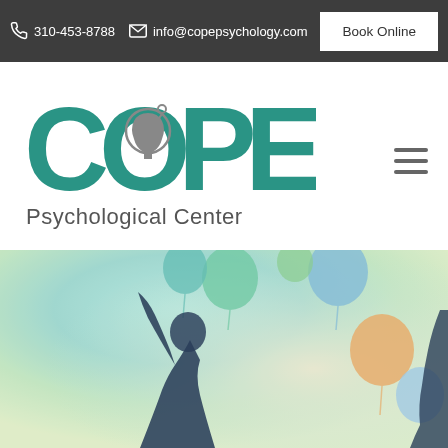310-453-8788   info@copepsychology.com   Book Online
[Figure (logo): COPE Psychological Center logo with teal lettering and a head silhouette inside the letter O]
[Figure (photo): Person with arms raised releasing colorful balloons in a celebratory, joyful scene with soft pastel tones]